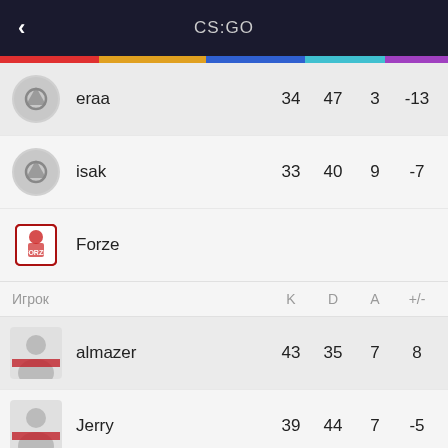CS:GO
| Игрок | K | D | A | +/- |
| --- | --- | --- | --- | --- |
| eraa | 34 | 47 | 3 | -13 |
| isak | 33 | 40 | 9 | -7 |
| Forze |  |  |  |  |
| almazer | 43 | 35 | 7 | 8 |
| Jerry | 39 | 44 | 7 | -5 |
| FL1T | 50 | 39 |  | 11 |
| zorte | 36 | 35 | 9 | 1 |